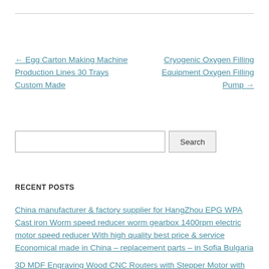← Egg Carton Making Machine Production Lines 30 Trays Custom Made
Cryogenic Oxygen Filling Equipment Oxygen Filling Pump →
Search
RECENT POSTS
China manufacturer & factory supplier for HangZhou EPG WPA Cast iron Worm speed reducer worm gearbox 1400rpm electric motor speed reducer With high quality best price & service Economical made in China – replacement parts – in Sofia Bulgaria
3D MDF Engraving Wood CNC Routers with Stepper Motor with ce